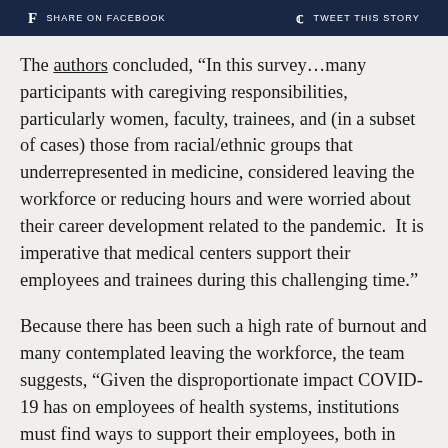f SHARE ON FACEBOOK   🐦 TWEET THIS STORY
The authors concluded, “In this survey…many participants with caregiving responsibilities, particularly women, faculty, trainees, and (in a subset of cases) those from racial/ethnic groups that underrepresented in medicine, considered leaving the workforce or reducing hours and were worried about their career development related to the pandemic.  It is imperative that medical centers support their employees and trainees during this challenging time.”
Because there has been such a high rate of burnout and many contemplated leaving the workforce, the team suggests, “Given the disproportionate impact COVID-19 has on employees of health systems, institutions must find ways to support their employees, both in terms of workplace cultural adaptations and assistance with familial responsibilities.”